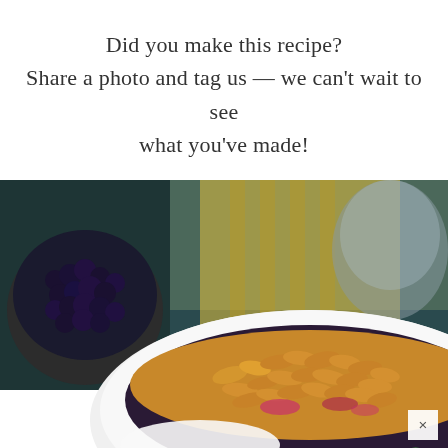Did you make this recipe? Share a photo and tag us — we can't wait to see what you've made!
[Figure (photo): Close-up food photo showing a white bowl filled with blueberry crisp or granola topped with oats and berries, with a small bowl of blueberries visible in the upper left, a yellow patterned cloth in the background, and a partial second food image at the bottom edge. A white close button with an X is visible in the lower right.]